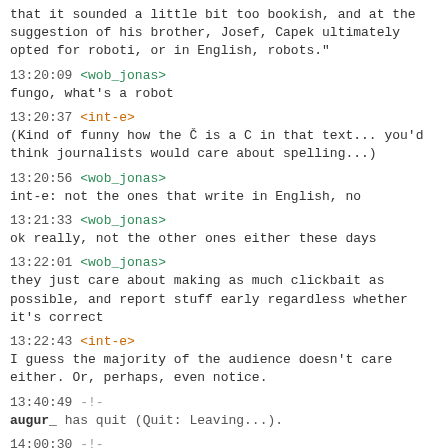that it sounded a little bit too bookish, and at the suggestion of his brother, Josef, Capek ultimately opted for roboti, or in English, robots."
13:20:09 <wob_jonas>
fungo, what's a robot
13:20:37 <int-e>
(Kind of funny how the Č is a C in that text... you'd think journalists would care about spelling...)
13:20:56 <wob_jonas>
int-e: not the ones that write in English, no
13:21:33 <wob_jonas>
ok really, not the other ones either these days
13:22:01 <wob_jonas>
they just care about making as much clickbait as possible, and report stuff early regardless whether it's correct
13:22:43 <int-e>
I guess the majority of the audience doesn't care either. Or, perhaps, even notice.
13:40:49 -!-
augur_ has quit (Quit: Leaving...).
14:00:30 -!-
doesthiswork has joined.
14:11:01 -!-
wob_jonas has quit (Quit: http://www.kiwiirc.com/ - A